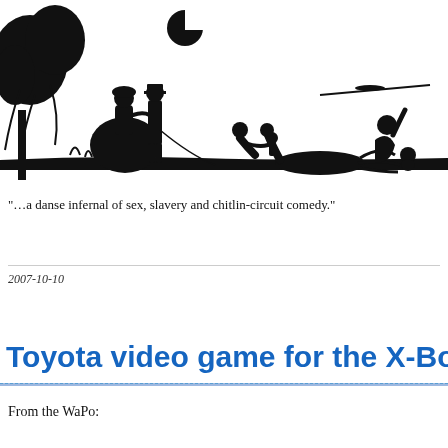[Figure (illustration): Black and white silhouette illustration showing Victorian-era figures including a couple with a bird on a leash, children, and a peacock on a white background with a moon and horizon line]
“…a danse infernal of sex, slavery and chitlin-circuit comedy.”
2007-10-10
Toyota video game for the X-Box
From the WaPo: